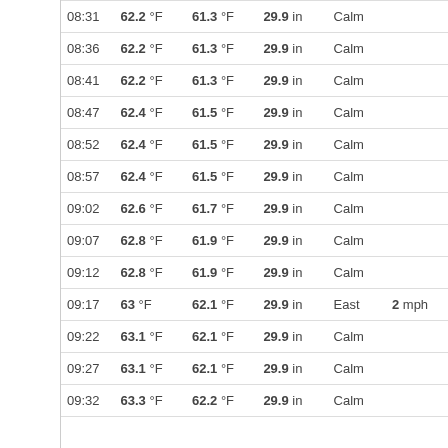| Time | Temp | Dew Point | Pressure | Wind Dir | Wind Speed |
| --- | --- | --- | --- | --- | --- |
| 08:31 | 62.2 °F | 61.3 °F | 29.9 in | Calm |  |
| 08:36 | 62.2 °F | 61.3 °F | 29.9 in | Calm |  |
| 08:41 | 62.2 °F | 61.3 °F | 29.9 in | Calm |  |
| 08:47 | 62.4 °F | 61.5 °F | 29.9 in | Calm |  |
| 08:52 | 62.4 °F | 61.5 °F | 29.9 in | Calm |  |
| 08:57 | 62.4 °F | 61.5 °F | 29.9 in | Calm |  |
| 09:02 | 62.6 °F | 61.7 °F | 29.9 in | Calm |  |
| 09:07 | 62.8 °F | 61.9 °F | 29.9 in | Calm |  |
| 09:12 | 62.8 °F | 61.9 °F | 29.9 in | Calm |  |
| 09:17 | 63 °F | 62.1 °F | 29.9 in | East | 2 mph |
| 09:22 | 63.1 °F | 62.1 °F | 29.9 in | Calm |  |
| 09:27 | 63.1 °F | 62.1 °F | 29.9 in | Calm |  |
| 09:32 | 63.3 °F | 62.2 °F | 29.9 in | Calm |  |